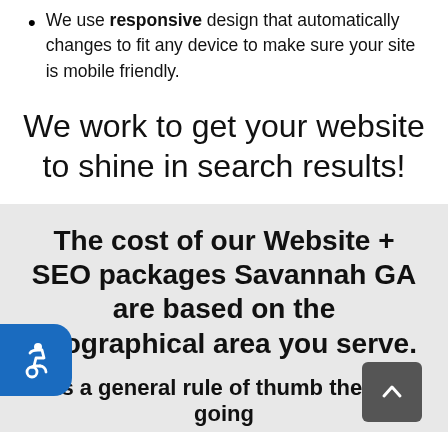We use responsive design that automatically changes to fit any device to make sure your site is mobile friendly.
We work to get your website to shine in search results!
The cost of our Website + SEO packages Savannah GA are based on the geographical area you serve.
As a general rule of thumb the on-going